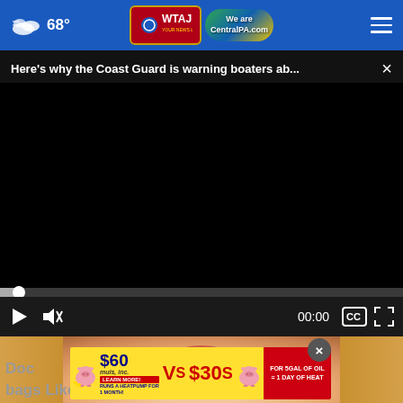68° WTAJ CentralPA.com
Here's why the Coast Guard is warning boaters ab... ×
[Figure (screenshot): Black video player area with progress bar and playback controls showing 00:00 timestamp, play button, mute button, captions button, and fullscreen button]
[Figure (photo): Partial view of a blonde woman's face, chin and mouth visible]
[Figure (infographic): Yellow advertisement banner: $60 muls inc. LEARN MORE! RUNS A HEATPUMP FOR 1 MONTH! VS $30 FOR 5GAL OF OIL = 1 DAY OF HEAT with pig mascots]
Doc                                                    e-bags Like Crazy (Try Tonight)